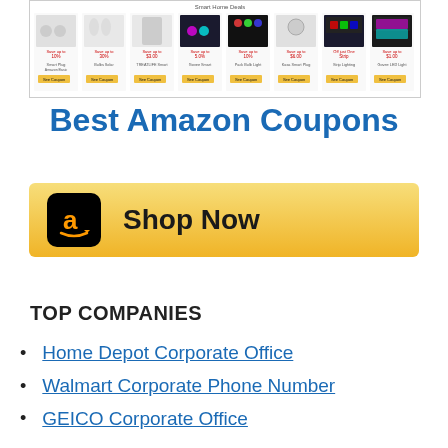[Figure (screenshot): Amazon product coupons page screenshot showing smart home products like plugs and light bulbs with Save up to % discounts and Shop Now buttons]
Best Amazon Coupons
[Figure (infographic): Amazon Shop Now button with Amazon 'a' logo on black background and golden gradient background]
TOP COMPANIES
Home Depot Corporate Office
Walmart Corporate Phone Number
GEICO Corporate Office